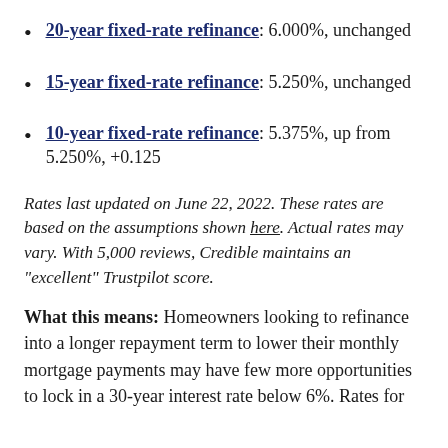20-year fixed-rate refinance: 6.000%, unchanged
15-year fixed-rate refinance: 5.250%, unchanged
10-year fixed-rate refinance: 5.375%, up from 5.250%, +0.125
Rates last updated on June 22, 2022. These rates are based on the assumptions shown here. Actual rates may vary. With 5,000 reviews, Credible maintains an "excellent" Trustpilot score.
What this means: Homeowners looking to refinance into a longer repayment term to lower their monthly mortgage payments may have few more opportunities to lock in a 30-year interest rate below 6%. Rates for